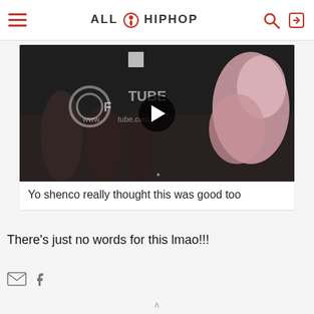ALL HIP HOP
[Figure (screenshot): Video thumbnail showing a crowd scene with a play button overlay and a video hosting watermark reading 'www.[...]tube.com']
Yo shenco really thought this was good too
There's just no words for this lmao!!!
[Figure (other): Social share icons: mail and Facebook]